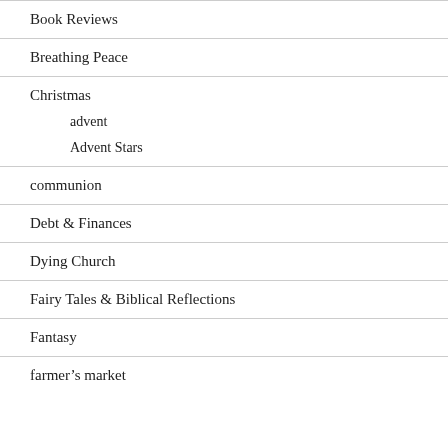Book Reviews
Breathing Peace
Christmas
advent
Advent Stars
communion
Debt & Finances
Dying Church
Fairy Tales & Biblical Reflections
Fantasy
farmer's market